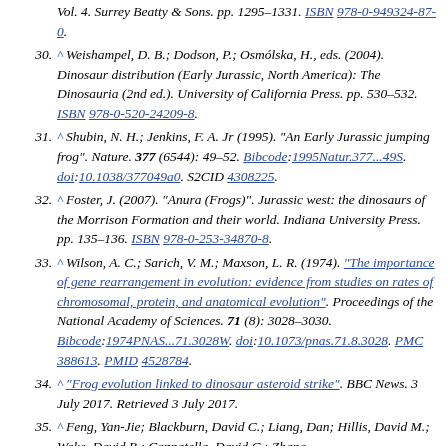(continuation) Vol. 4. Surrey Beatty & Sons. pp. 1295–1331. ISBN 978-0-949324-87-0.
30. ^ Weishampel, D. B.; Dodson, P.; Osmólska, H., eds. (2004). Dinosaur distribution (Early Jurassic, North America): The Dinosauria (2nd ed.). University of California Press. pp. 530–532. ISBN 978-0-520-24209-8.
31. ^ Shubin, N. H.; Jenkins, F. A. Jr (1995). "An Early Jurassic jumping frog". Nature. 377 (6544): 49–52. Bibcode:1995Natur.377...49S. doi:10.1038/377049a0. S2CID 4308225.
32. ^ Foster, J. (2007). "Anura (Frogs)". Jurassic west: the dinosaurs of the Morrison Formation and their world. Indiana University Press. pp. 135–136. ISBN 978-0-253-34870-8.
33. ^ Wilson, A. C.; Sarich, V. M.; Maxson, L. R. (1974). "The importance of gene rearrangement in evolution: evidence from studies on rates of chromosomal, protein, and anatomical evolution". Proceedings of the National Academy of Sciences. 71 (8): 3028–3030. Bibcode:1974PNAS...71.3028W. doi:10.1073/pnas.71.8.3028. PMC 388613. PMID 4528784.
34. ^ "Frog evolution linked to dinosaur asteroid strike". BBC News. 3 July 2017. Retrieved 3 July 2017.
35. ^ Feng, Yan-Jie; Blackburn, David C.; Liang, Dan; Hillis, David M.; Wake, David B.; Cannatella, David C.; Zhang,